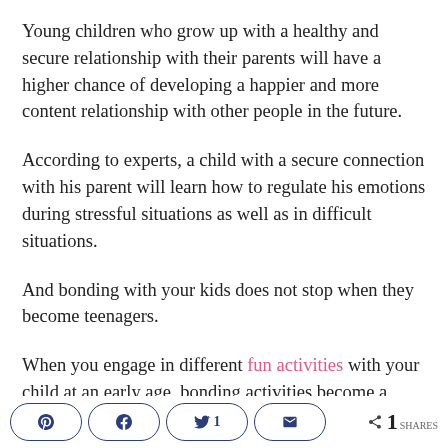Young children who grow up with a healthy and secure relationship with their parents will have a higher chance of developing a happier and more content relationship with other people in the future.
According to experts, a child with a secure connection with his parent will learn how to regulate his emotions during stressful situations as well as in difficult situations.
And bonding with your kids does not stop when they become teenagers.
When you engage in different fun activities with your child at an early age, bonding activities become a